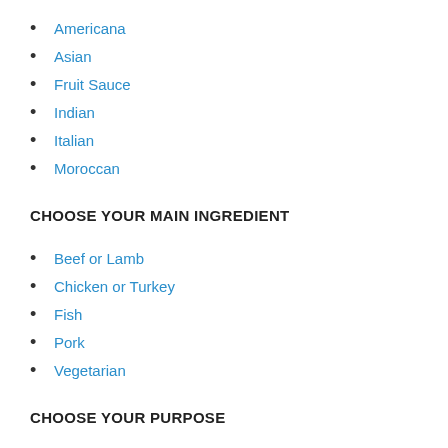Americana
Asian
Fruit Sauce
Indian
Italian
Moroccan
CHOOSE YOUR MAIN INGREDIENT
Beef or Lamb
Chicken or Turkey
Fish
Pork
Vegetarian
CHOOSE YOUR PURPOSE